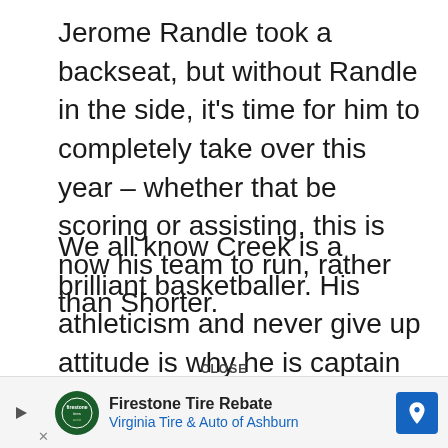Jerome Randle took a backseat, but without Randle in the side, it’s time for him to completely take over this year – whether that be scoring or assisting, this is now his team to run, rather than Shorter.
We all know Creek is a brilliant basketballer. His athleticism and never give up attitude is why he is captain in Adelaide. We saw it on display in the FIBA Asia Cup, when he played a starring role to get Australia over the line, and we saw the difference he made when he came back to Adelaide last year after being injured.
CLOSE
[Figure (other): Advertisement banner: Firestone Tire Rebate - Virginia Tire & Auto of Ashburn, with logo and navigation icon]